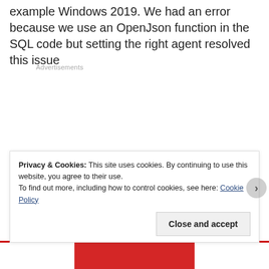example Windows 2019. We had an error because we use an OpenJson function in the SQL code but setting the right agent resolved this issue
Advertisements
Privacy & Cookies: This site uses cookies. By continuing to use this website, you agree to their use.
To find out more, including how to control cookies, see here: Cookie Policy
Close and accept